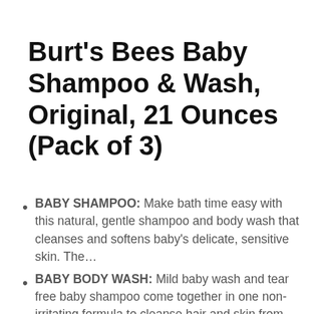Burt's Bees Baby Shampoo & Wash, Original, 21 Ounces (Pack of 3)
BABY SHAMPOO: Make bath time easy with this natural, gentle shampoo and body wash that cleanses and softens baby's delicate, sensitive skin. The…
BABY BODY WASH: Mild baby wash and tear free baby shampoo come together in one non-irritating formula to cleanse hair and skin from head to toe
NATURAL BABY CARE: This baby shampoo and body wash has a natural plant based cleansing complex with